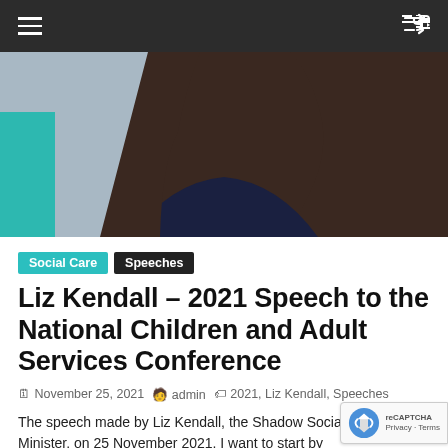Navigation bar with hamburger menu and shuffle icon
[Figure (photo): Close-up portrait photo of Liz Kendall, a woman with dark shoulder-length hair, smiling, wearing a dark navy top, against a light blue-grey background.]
Social Care   Speeches
Liz Kendall – 2021 Speech to the National Children and Adult Services Conference
November 25, 2021   admin   2021, Liz Kendall, Speeches
The speech made by Liz Kendall, the Shadow Social Minister, on 25 November 2021. I want to start by